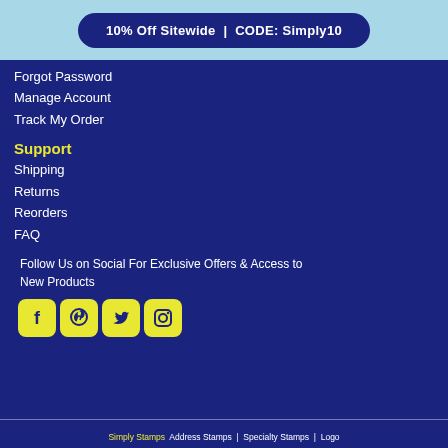10% Off Sitewide | CODE: Simply10
Forgot Password
Manage Account
Track My Order
Support
Shipping
Returns
Reorders
FAQ
Follow Us on Social For Exclusive Offers & Access to New Products
[Figure (logo): Social media icons: Facebook, Pinterest, Twitter, Instagram — yellow rounded square buttons]
Simply Stamps | Address Stamps | Specialty Stamps | Logo